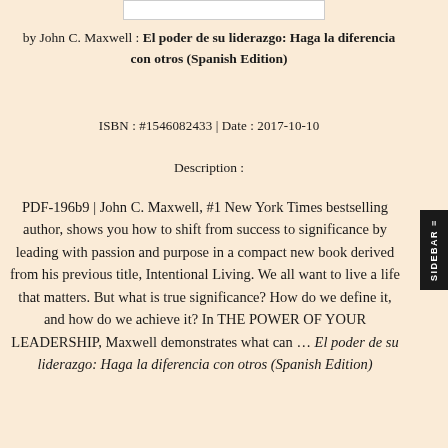by John C. Maxwell : El poder de su liderazgo: Haga la diferencia con otros (Spanish Edition)
ISBN : #1546082433 | Date : 2017-10-10
Description :
PDF-196b9 | John C. Maxwell, #1 New York Times bestselling author, shows you how to shift from success to significance by leading with passion and purpose in a compact new book derived from his previous title, Intentional Living. We all want to live a life that matters. But what is true significance? How do we define it, and how do we achieve it? In THE POWER OF YOUR LEADERSHIP, Maxwell demonstrates what can … El poder de su liderazgo: Haga la diferencia con otros (Spanish Edition)